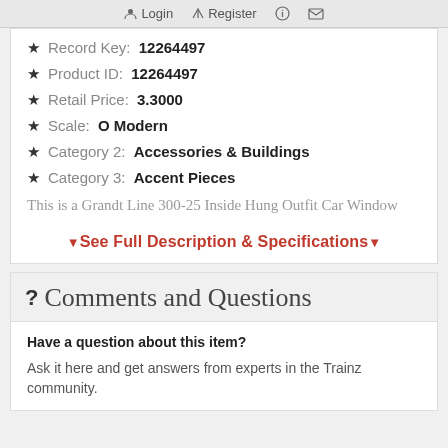Login  Register  (info)  (mail)
Record Key: 12264497
Product ID: 12264497
Retail Price: 3.3000
Scale: O Modern
Category 2: Accessories & Buildings
Category 3: Accent Pieces
This is a Grandt Line 300-25 Inside Hung Outfit Car Window
▼ See Full Description & Specifications ▼
? Comments and Questions
Have a question about this item?
Ask it here and get answers from experts in the Trainz community.